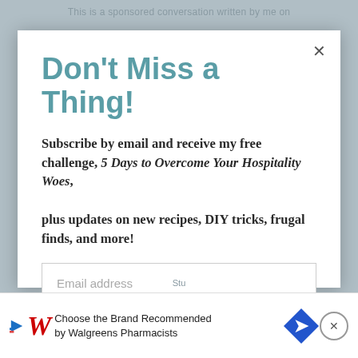This is a sponsored conversation written by me on
Don't Miss a Thing!
Subscribe by email and receive my free challenge, 5 Days to Overcome Your Hospitality Woes, plus updates on new recipes, DIY tricks, frugal finds, and more!
Email address
SUBSCRIBE
Choose the Brand Recommended by Walgreens Pharmacists